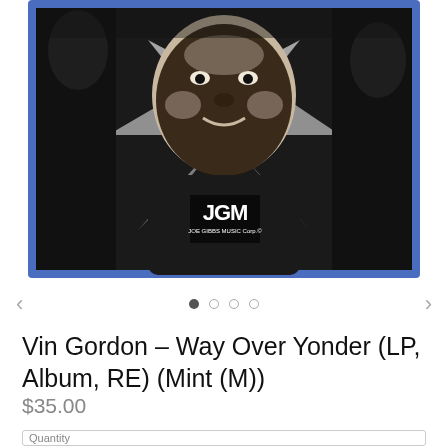[Figure (photo): Album cover for Vin Gordon - Way Over Yonder. Black and white photo of a man's face with the Joe Gibbs Music Corp. logo at the bottom, framed with a blue border.]
< • ○ ○ ○ >
Vin Gordon - Way Over Yonder (LP, Album, RE) (Mint (M))
$35.00
Quantity